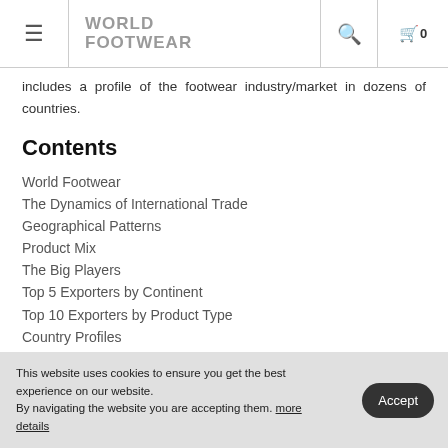WORLD FOOTWEAR
includes a profile of the footwear industry/market in dozens of countries.
Contents
World Footwear
The Dynamics of International Trade
Geographical Patterns
Product Mix
The Big Players
Top 5 Exporters by Continent
Top 10 Exporters by Product Type
Country Profiles
World Data Map
This website uses cookies to ensure you get the best experience on our website. By navigating the website you are accepting them. more details